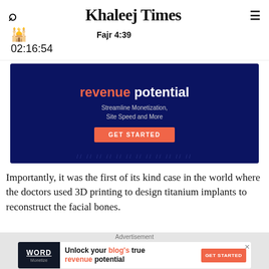Khaleej Times | Fajr 4:39 | 02:16:54
[Figure (screenshot): Advertisement banner with dark blue background: 'revenue potential' in white bold text, 'Streamline Monetization, Site Speed and More' in light text, orange 'GET STARTED' button, watermark pattern at bottom]
Importantly, it was the first of its kind case in the world where the doctors used 3D printing to design titanium implants to reconstruct the facial bones.
[Figure (photo): Partial photo strip showing logos and icons on a muted blue-grey background with a heart icon on the right]
Advertisement — Word Monetize: Unlock your blog's true revenue potential — GET STARTED